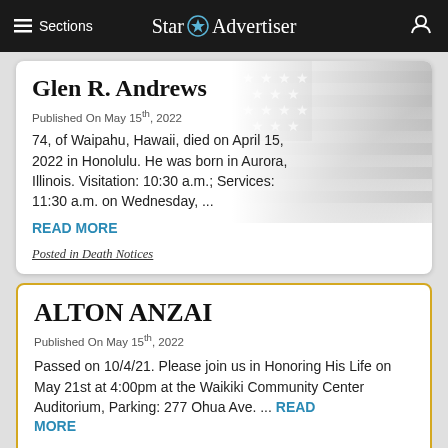Star Advertiser — Sections
Glen R. Andrews
Published On May 15th, 2022
74, of Waipahu, Hawaii, died on April 15, 2022 in Honolulu. He was born in Aurora, Illinois. Visitation: 10:30 a.m.; Services: 11:30 a.m. on Wednesday, ...
READ MORE
Posted in Death Notices
ALTON ANZAI
Published On May 15th, 2022
Passed on 10/4/21. Please join us in Honoring His Life on May 21st at 4:00pm at the Waikiki Community Center Auditorium, Parking: 277 Ohua Ave. ... READ MORE